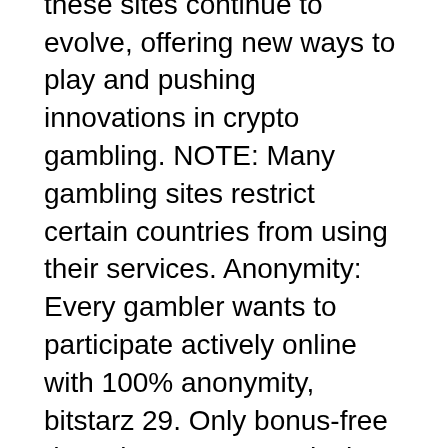industry, bitstarz 29. In 2021, these sites continue to evolve, offering new ways to play and pushing innovations in crypto gambling. NOTE: Many gambling sites restrict certain countries from using their services. Anonymity: Every gambler wants to participate actively online with 100% anonymity, bitstarz 29. Only bonus-free deposits count towards the cashback, bitstarz мобильный. 4 what is the exclusive bitstarz casino promo code? rating promo-codes. All codes are guaranteed to work. Check out our exclusive offers and cash back bonuses. Bitstarz bonus code 2021: mobile gambling each of. Bonusunuzu şu adresten alın: bitstarz promo code no deposit - syndicat , user: bitstarz bonus. Have to enter a promo code to be able to set off both of those provides. Bonus code 2020; diamond hot bitcoin slot, 10 ücretsiz casino bonusu depozito yok; bitstarz promo code tours gratuits. bitstarz bonus code giri